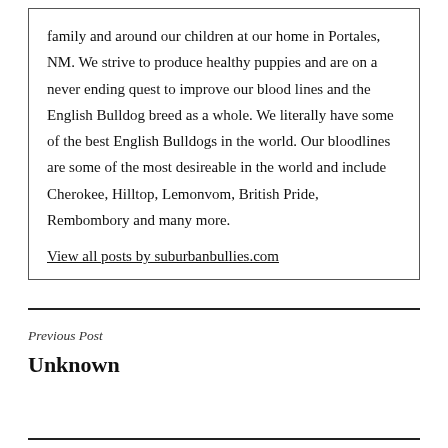family and around our children at our home in Portales, NM. We strive to produce healthy puppies and are on a never ending quest to improve our blood lines and the English Bulldog breed as a whole. We literally have some of the best English Bulldogs in the world. Our bloodlines are some of the most desireable in the world and include Cherokee, Hilltop, Lemonvom, British Pride, Rembombory and many more.
View all posts by suburbanbullies.com
Previous Post
Unknown